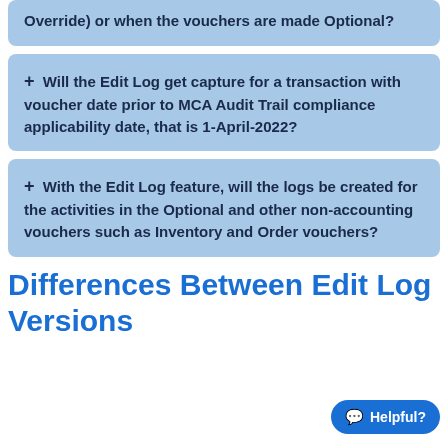Override) or when the vouchers are made Optional?
+ Will the Edit Log get capture for a transaction with voucher date prior to MCA Audit Trail compliance applicability date, that is 1-April-2022?
+ With the Edit Log feature, will the logs be created for the activities in the Optional and other non-accounting vouchers such as Inventory and Order vouchers?
Differences Between Edit Log Versions